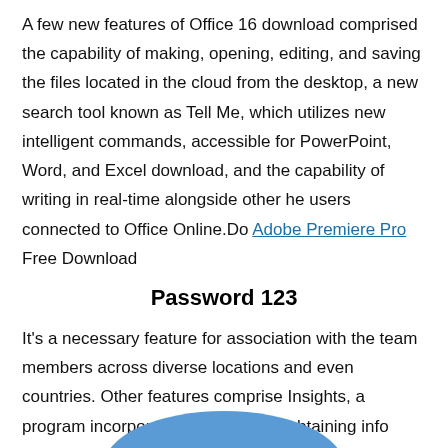A few new features of Office 16 download comprised the capability of making, opening, editing, and saving the files located in the cloud from the desktop, a new search tool known as Tell Me, which utilizes new intelligent commands, accessible for PowerPoint, Word, and Excel download, and the capability of writing in real-time alongside other he users connected to Office Online.Do Adobe Premiere Pro Free Download
Password 123
It's a necessary feature for association with the team members across diverse locations and even countries. Other features comprise Insights, a program incorporated with Bing for obtaining info contextualized by the web, new Excel charts types (like pie charts, treemaps, box-plots, cascade charts, and histograms), and the DLP (data loss prevention) tool, accessible for Excel, Word, and PowerPoint.
[Figure (illustration): Partial view of a blue curved shape or graphic at the bottom of the page]